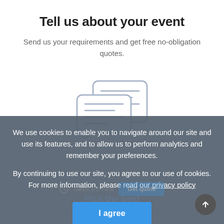Tell us about your event
Send us your requirements and get free no-obligation quotes.
[Figure (illustration): Icon showing two overlapping chat/document bubbles with lines representing text, in a light blue-grey outline style.]
We use cookies to enable you to navigate around our site and use its features, and to allow us to perform analytics and remember your preferences.
By continuing to use our site, you agree to our use of cookies. For more information, please read our privacy policy